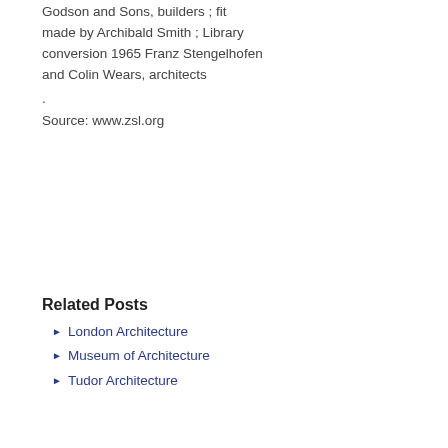Godson and Sons, builders ; fit made by Archibald Smith ; Library conversion 1965 Franz Stengelhofen and Colin Wears, architects
.
Source: www.zsl.org
Related Posts
London Architecture
Museum of Architecture
Tudor Architecture